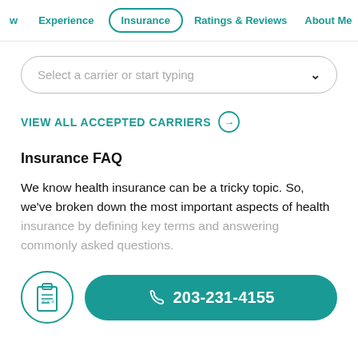w | Experience | Insurance | Ratings & Reviews | About Me
[Figure (screenshot): Dropdown input field: 'Select a carrier or start typing' with a chevron arrow]
VIEW ALL ACCEPTED CARRIERS →
Insurance FAQ
We know health insurance can be a tricky topic. So, we've broken down the most important aspects of health insurance by defining key terms and answering commonly asked questions.
[Figure (infographic): Clipboard icon in a circle and a teal phone call button showing 203-231-4155]